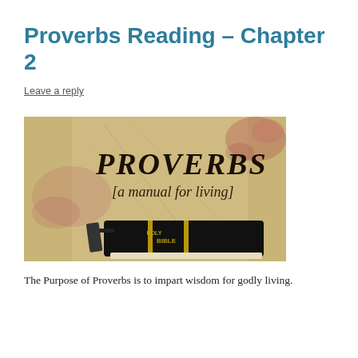Proverbs Reading – Chapter 2
Leave a reply
[Figure (photo): Promotional image showing the word PROVERBS in large block letters with '[a manual for living]' below it, on a worn parchment-style background with pink floral artwork, and a black Holy Bible sitting in the foreground.]
The Purpose of Proverbs is to impart wisdom for godly living.